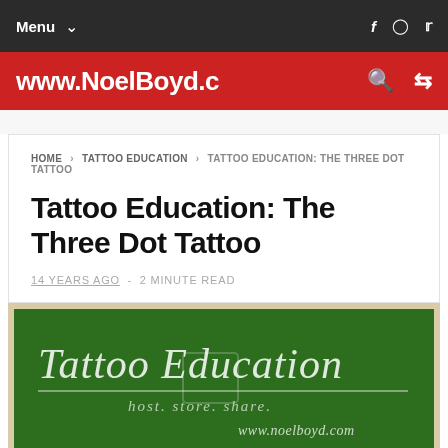Menu
www.NoelBoyd.c
HOME › TATTOO EDUCATION › TATTOO EDUCATION: THE THREE DOT TATTOO
Tattoo Education: The Three Dot Tattoo
14 YEARS AGO  -  2 MINUTE READ
[Figure (photo): Green chalkboard image with cursive text 'Tattoo Education' and subtitle 'host. store. share.' and 'www.noelboyd.com']